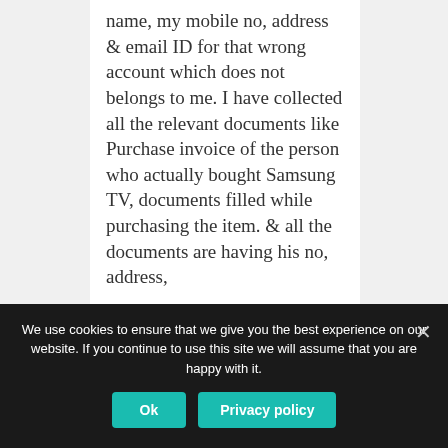name, my mobile no, address & email ID for that wrong account which does not belongs to me. I have collected all the relevant documents like Purchase invoice of the person who actually bought Samsung TV, documents filled while purchasing the item. & all the documents are having his no, address,
We use cookies to ensure that we give you the best experience on our website. If you continue to use this site we will assume that you are happy with it.